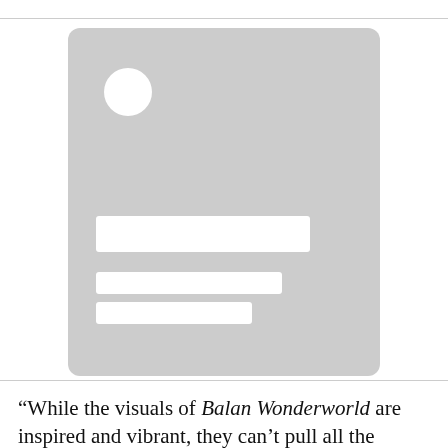[Figure (illustration): A placeholder image block with rounded corners on a light gray background. Contains a white circle in the upper left and three white horizontal bars near the bottom suggesting a title and subtitle text placeholder.]
“While the visuals of Balan Wonderworld are inspired and vibrant, they can’t pull all the weight in